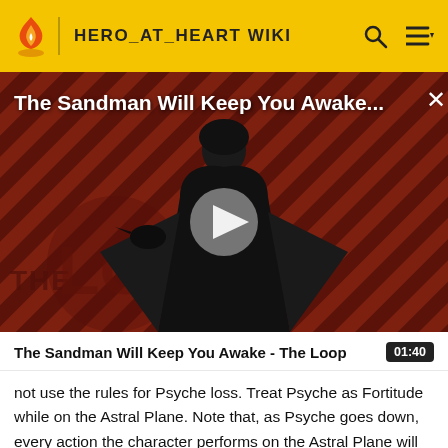HERO_AT_HEART WIKI
[Figure (screenshot): Video thumbnail showing a figure in a black cape against a red diagonal-striped background with 'THE LOOP' watermark text, title overlay reads 'The Sandman Will Keep You Awake...' with a play button in the center]
The Sandman Will Keep You Awake - The Loop  01:40
not use the rules for Psyche loss. Treat Psyche as Fortitude while on the Astral Plane. Note that, as Psyche goes down, every action the character performs on the Astral Plane will be affected. This does not, however, affect